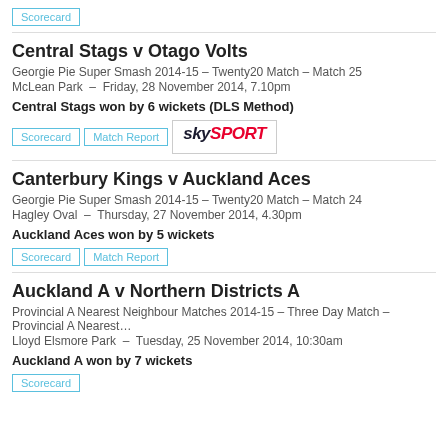Scorecard
Central Stags v Otago Volts
Georgie Pie Super Smash 2014-15 – Twenty20 Match – Match 25
McLean Park – Friday, 28 November 2014, 7.10pm
Central Stags won by 6 wickets (DLS Method)
Scorecard
Match Report
[Figure (logo): Sky Sport logo]
Canterbury Kings v Auckland Aces
Georgie Pie Super Smash 2014-15 – Twenty20 Match – Match 24
Hagley Oval – Thursday, 27 November 2014, 4.30pm
Auckland Aces won by 5 wickets
Scorecard
Match Report
Auckland A v Northern Districts A
Provincial A Nearest Neighbour Matches 2014-15 – Three Day Match – Provincial A Nearest…
Lloyd Elsmore Park – Tuesday, 25 November 2014, 10:30am
Auckland A won by 7 wickets
Scorecard